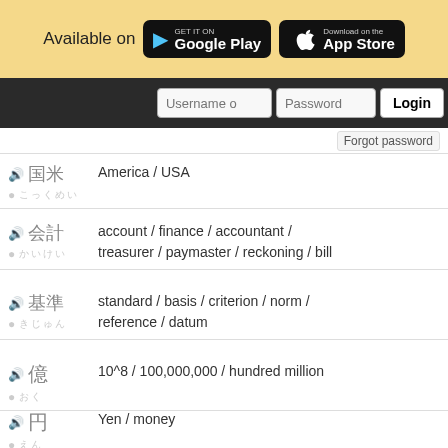[Figure (screenshot): App store banner with Google Play and App Store buttons on yellow background]
[Figure (screenshot): Login bar with username, password fields and Login button on dark background]
Forgot password
America / USA
account / finance / accountant / treasurer / paymaster / reckoning / bill
standard / basis / criterion / norm / reference / datum
10^8 / 100,000,000 / hundred million
Yen / money
deficit